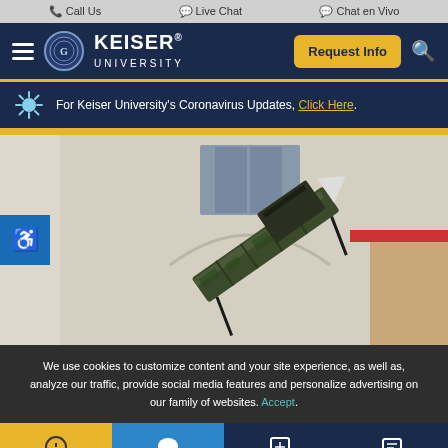Call Us  Live Chat  Chat en Vivo
[Figure (screenshot): Keiser University navigation bar with hamburger menu, logo, Request Info button, and search icon on dark navy background]
For Keiser University's Coronavirus Updates, Click Here.
[Figure (photo): Photo of a military missile launcher or rocket system displayed outdoors in front of a building, with an accessibility icon button on the left side]
We use cookies to customize content and your site experience, as well as, analyze our traffic, provide social media features and personalize advertising on our family of websites. Accept.
Info  Chat  Edit  Message (bottom navigation icons)